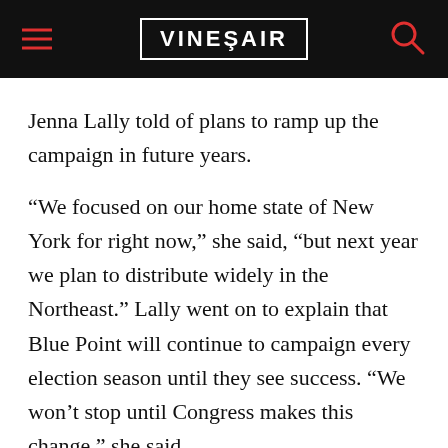VinePair
Jenna Lally told of plans to ramp up the campaign in future years.
“We focused on our home state of New York for right now,” she said, “but next year we plan to distribute widely in the Northeast.” Lally went on to explain that Blue Point will continue to campaign every election season until they see success. “We won’t stop until Congress makes this change,” she said.